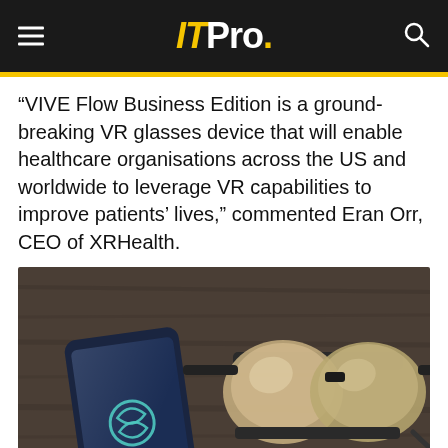ITPro.
“VIVE Flow Business Edition is a ground-breaking VR glasses device that will enable healthcare organisations across the US and worldwide to leverage VR capabilities to improve patients’ lives,” commented Eran Orr, CEO of XRHealth.
[Figure (photo): A smartphone showing the HTC VIVE SYNC app logo and the word SYNC on its screen, placed on a dark wooden surface next to a pair of HTC VIVE Flow VR glasses.]